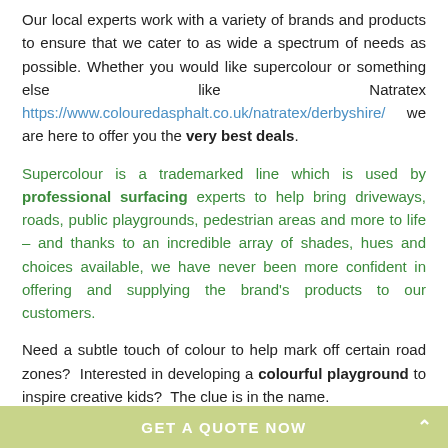Our local experts work with a variety of brands and products to ensure that we cater to as wide a spectrum of needs as possible. Whether you would like supercolour or something else like Natratex https://www.colouredasphalt.co.uk/natratex/derbyshire/ we are here to offer you the very best deals.
Supercolour is a trademarked line which is used by professional surfacing experts to help bring driveways, roads, public playgrounds, pedestrian areas and more to life – and thanks to an incredible array of shades, hues and choices available, we have never been more confident in offering and supplying the brand's products to our customers.
Need a subtle touch of colour to help mark off certain road zones?  Interested in developing a colourful playground to inspire creative kids?  The clue is in the name.
GET A QUOTE NOW